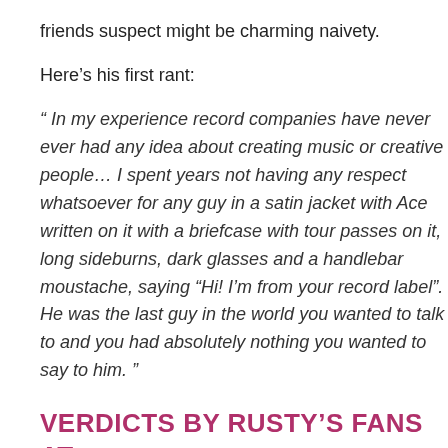friends suspect might be charming naivety.
Here’s his first rant:
“ In my experience record companies have never ever had any idea about creating music or creative people… I spent years not having any respect whatsoever for any guy in a satin jacket with Ace written on it with a briefcase with tour passes on it, long sideburns, dark glasses and a handlebar moustache, saying “Hi! I’m from your record label”. He was the last guy in the world you wanted to talk to and you had absolutely nothing you wanted to say to him. ”
VERDICTS BY RUSTY’S FANS AT FACEBOOK